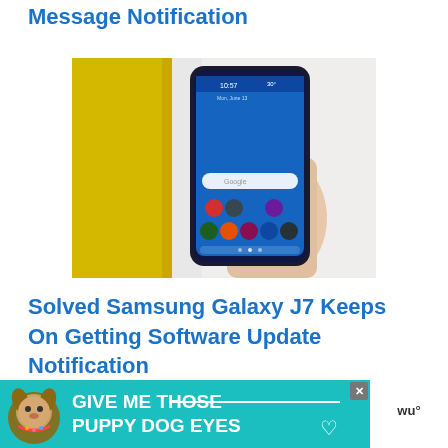Message Notification
[Figure (photo): A hand holding a Samsung Galaxy J7 smartphone displaying the home screen with the time 10:57, against a yellow and white background.]
Solved Samsung Galaxy J7 Keeps On Getting Software Update Notification
[Figure (photo): Partial view of a smartphone screen with green neon glow background, bottom portion visible.]
[Figure (screenshot): Advertisement banner reading 'GIVE ME THOSE PUPPY DOG EYES' with a dog image and heart icon, teal background. Weather widget on right side.]